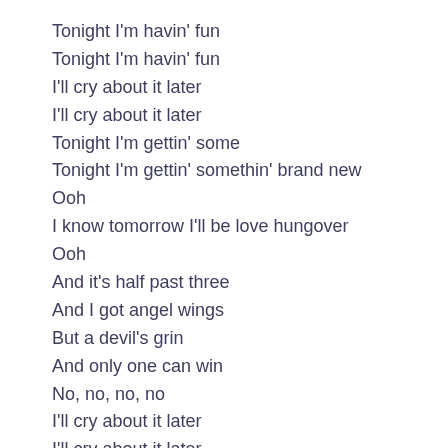Tonight I'm havin' fun
Tonight I'm havin' fun
I'll cry about it later
I'll cry about it later
Tonight I'm gettin' some
Tonight I'm gettin' somethin' brand new
Ooh
I know tomorrow I'll be love hungover
Ooh
And it's half past three
And I got angel wings
But a devil's grin
And only one can win
No, no, no, no
I'll cry about it later
I'll cry about it later
Tonight I'm havin' fun